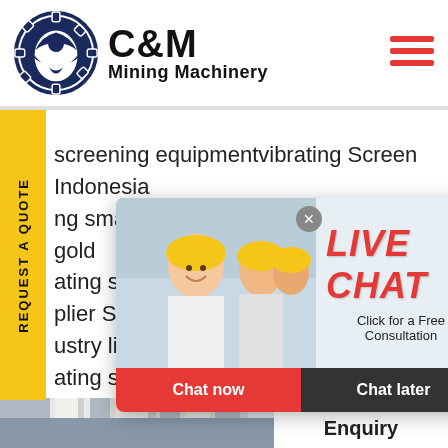[Figure (logo): C&M Mining Machinery logo with eagle gear icon in navy blue, company name in bold black text]
[Figure (infographic): Live chat popup with workers in hard hats photo, LIVE CHAT heading in red, Click for a Free Consultation text, Chat now (red) and Chat later (dark) buttons, close X button]
screening equipmentvibrating Screen Indonesia
ng small linear vibrating sieve machine gold
ating sc
plier St
ustry line
ating sc
REQUEST A QUOTE
[Figure (photo): Industrial facility with white pipes and industrial columns]
[Figure (photo): Customer service representative with headset smiling]
Hours
line
Click to Chat
Enquiry